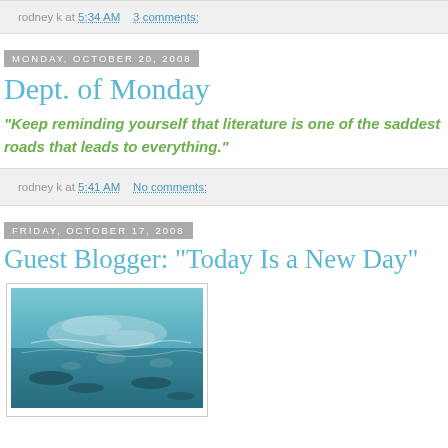rodney k at 5:34 AM    3 comments:
Monday, October 20, 2008
Dept. of Monday
“Keep reminding yourself that literature is one of the saddest roads that leads to everything.”
rodney k at 5:41 AM    No comments:
Friday, October 17, 2008
Guest Blogger: "Today Is a New Day"
[Figure (photo): Underwater photograph showing teal/blue water with light patterns and waves visible from below the surface]